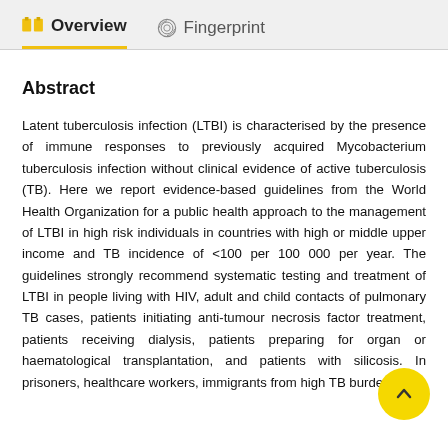Overview   Fingerprint
Abstract
Latent tuberculosis infection (LTBI) is characterised by the presence of immune responses to previously acquired Mycobacterium tuberculosis infection without clinical evidence of active tuberculosis (TB). Here we report evidence-based guidelines from the World Health Organization for a public health approach to the management of LTBI in high risk individuals in countries with high or middle upper income and TB incidence of <100 per 100 000 per year. The guidelines strongly recommend systematic testing and treatment of LTBI in people living with HIV, adult and child contacts of pulmonary TB cases, patients initiating anti-tumour necrosis factor treatment, patients receiving dialysis, patients preparing for organ or haematological transplantation, and patients with silicosis. In prisoners, healthcare workers, immigrants from high TB burden